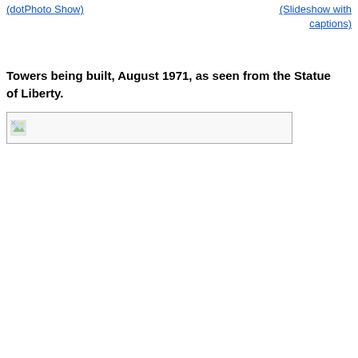(dotPhoto Show)
(Slideshow with captions)
Towers being built, August 1971, as seen from the Statue of Liberty.
[Figure (photo): Broken image placeholder showing a small landscape icon in the top-left corner of a bordered rectangle, representing a photo of towers being built in August 1971 as seen from the Statue of Liberty.]